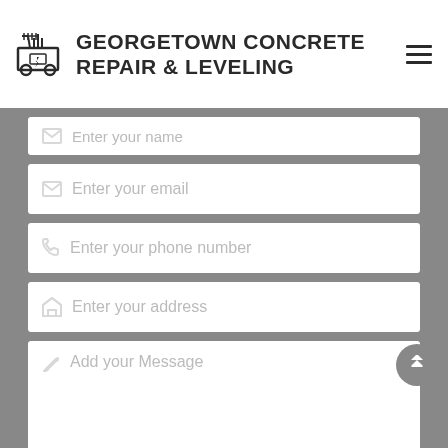[Figure (logo): Georgetown Concrete Repair & Leveling logo with icon of concrete leveling machine]
GEORGETOWN CONCRETE REPAIR & LEVELING
[Figure (screenshot): Contact form with fields: Enter your name, Enter your email, Enter your phone number, Enter your address, Add your Message, and a reCAPTCHA widget at the bottom]
Enter your name
Enter your email
Enter your phone number
Enter your address
Add your Message